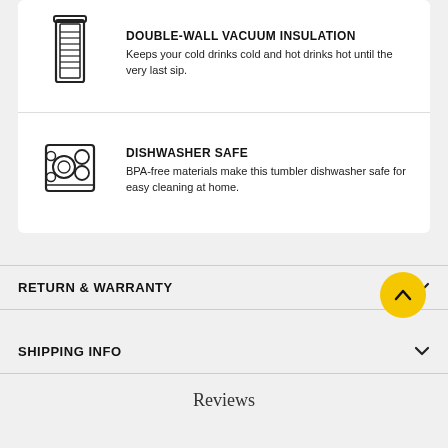[Figure (illustration): Icon of a double-wall vacuum insulation container (thermos cross-section with radiating lines)]
DOUBLE-WALL VACUUM INSULATION
Keeps your cold drinks cold and hot drinks hot until the very last sip.
[Figure (illustration): Icon of a dishwasher with dishes and circles representing water spray]
DISHWASHER SAFE
BPA-free materials make this tumbler dishwasher safe for easy cleaning at home.
RETURN & WARRANTY
SHIPPING INFO
Reviews